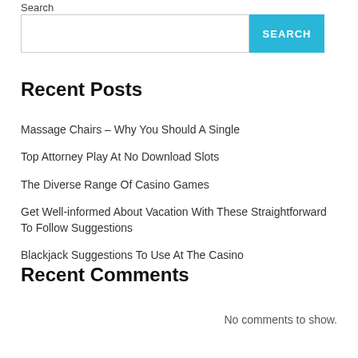Search
Recent Posts
Massage Chairs – Why You Should A Single
Top Attorney Play At No Download Slots
The Diverse Range Of Casino Games
Get Well-informed About Vacation With These Straightforward To Follow Suggestions
Blackjack Suggestions To Use At The Casino
Recent Comments
No comments to show.